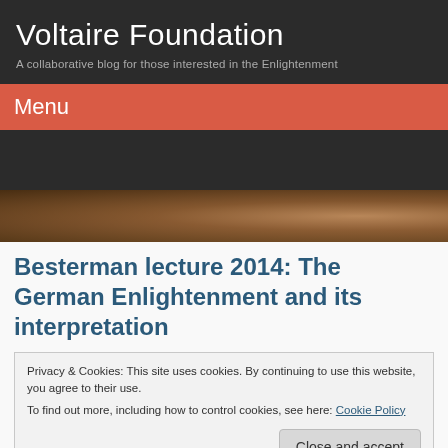Voltaire Foundation
A collaborative blog for those interested in the Enlightenment
Menu
[Figure (photo): Brown/sepia decorative image strip, appears to show a historical painting or aged background]
Besterman lecture 2014: The German Enlightenment and its interpretation
Privacy & Cookies: This site uses cookies. By continuing to use this website, you agree to their use.
To find out more, including how to control cookies, see here: Cookie Policy
Close and accept